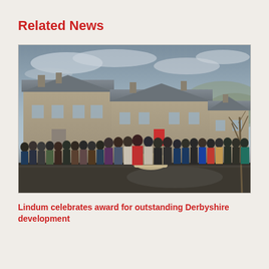Related News
[Figure (photo): A large group of people standing in front of stone buildings on a grey overcast day, gathered around a stone monument or plaque. The buildings appear to be a newly built stone housing development with grey slate roofs. A bare tree is visible on the right side of the image.]
Lindum celebrates award for outstanding Derbyshire development